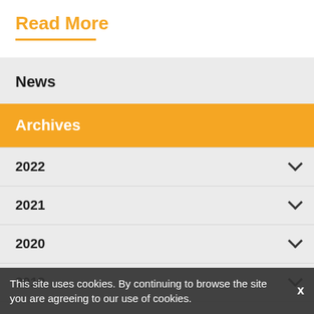Read More
News
Archives
2022
2021
2020
2019
2018
2017
This site uses cookies. By continuing to browse the site you are agreeing to our use of cookies.